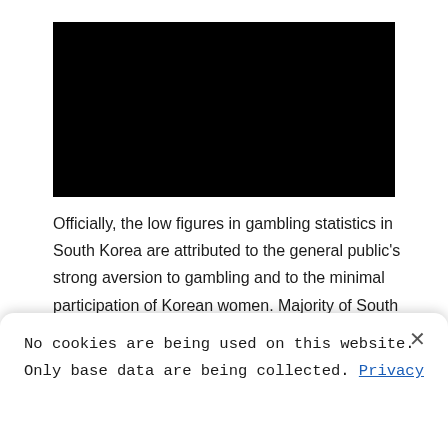[Figure (photo): A black rectangular image block, fully dark/black, likely a video thumbnail or obscured image.]
Officially, the low figures in gambling statistics in South Korea are attributed to the general public's strong aversion to gambling and to the minimal participation of Korean women. Majority of South Koreans correlate gambling to criminal activities, as the penalty for those caught gambling in
No cookies are being used on this website. Only base data are being collected. Privacy